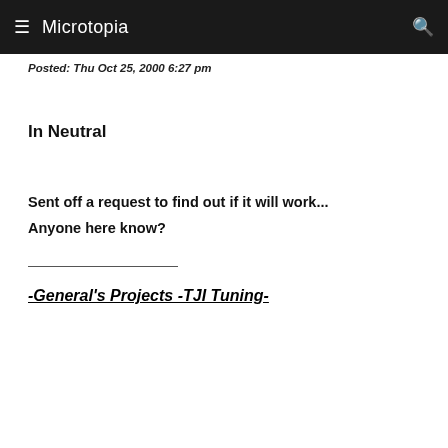Microtopia
Posted: Thu Oct 25, 2000 6:27 pm
In Neutral
Sent off a request to find out if it will work...
Anyone here know?
-General's Projects -TJI Tuning-